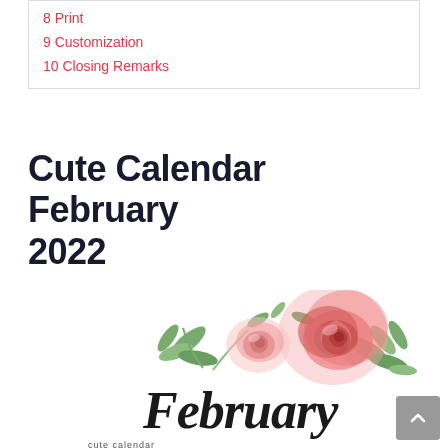8 Print
9 Customization
10 Closing Remarks
Cute Calendar February 2022
[Figure (illustration): Cute February 2022 calendar cover with watercolor pink roses and green leaves at top, and 'February' written in black script cursive lettering below.]